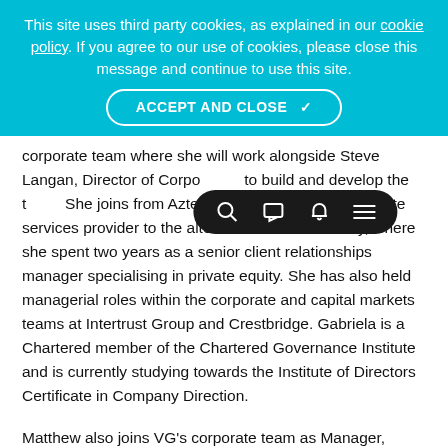This site uses third party cookies, as explained in our cookie policy. If you agree to our use of cookies, please close this message and continue to use this site. ACCEPT AND CLOSE ✓
corporate team where she will work alongside Steve Langan, Director of Corporate... to build and develop the t... She joins from Aztec Group, a fund and corporate services provider to the alternative assets industry, where she spent two years as a senior client relationships manager specialising in private equity. She has also held managerial roles within the corporate and capital markets teams at Intertrust Group and Crestbridge. Gabriela is a Chartered member of the Chartered Governance Institute and is currently studying towards the Institute of Directors Certificate in Company Direction.
Matthew also joins VG's corporate team as Manager, bringing 14 years' experience of